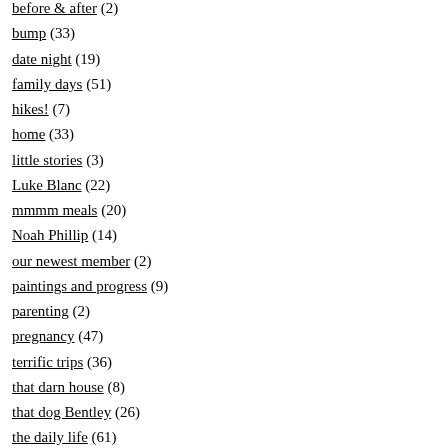before & after (2)
bump (33)
date night (19)
family days (51)
hikes! (7)
home (33)
little stories (3)
Luke Blanc (22)
mmmm meals (20)
Noah Phillip (14)
our newest member (2)
paintings and progress (9)
parenting (2)
pregnancy (47)
terrific trips (36)
that darn house (8)
that dog Bentley (26)
the daily life (61)
wedded bliss (43)